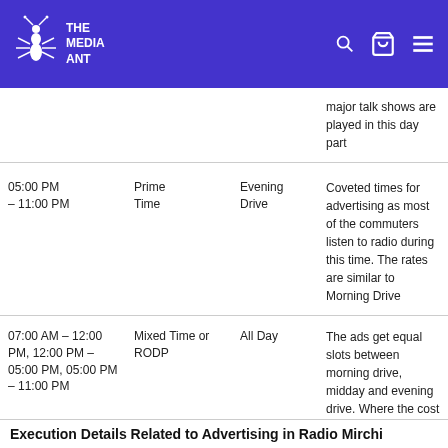The Media Ant
| Time | Name | Slot | Description |
| --- | --- | --- | --- |
|  |  |  | major talk shows are played in this day part |
| 05:00 PM – 11:00 PM | Prime Time | Evening Drive | Coveted times for advertising as most of the commuters listen to radio during this time. The rates are similar to Morning Drive |
| 07:00 AM – 12:00 PM, 12:00 PM – 05:00 PM, 05:00 PM – 11:00 PM | Mixed Time or RODP | All Day | The ads get equal slots between morning drive, midday and evening drive. Where the cost incurred will be moderate |
Execution Details Related to Advertising in Radio Mirchi